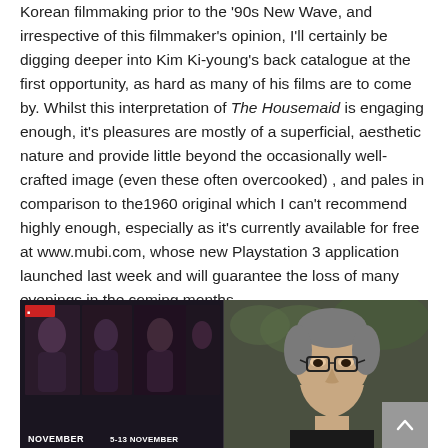Korean filmmaking prior to the '90s New Wave, and irrespective of this filmmaker's opinion, I'll certainly be digging deeper into Kim Ki-young's back catalogue at the first opportunity, as hard as many of his films are to come by. Whilst this interpretation of The Housemaid is engaging enough, it's pleasures are mostly of a superficial, aesthetic nature and provide little beyond the occasionally well-crafted image (even these often overcooked) , and pales in comparison to the1960 original which I can't recommend highly enough, especially as it's currently available for free at www.mubi.com, whose new Playstation 3 application launched last week and will guarantee the loss of many evenings in the coming months.
[Figure (photo): Photograph split into two parts: left side shows movie posters with women's faces and 'NOVEMBER' text at bottom; right side shows an Asian man with glasses and grey hair speaking, with green foliage in the background.]